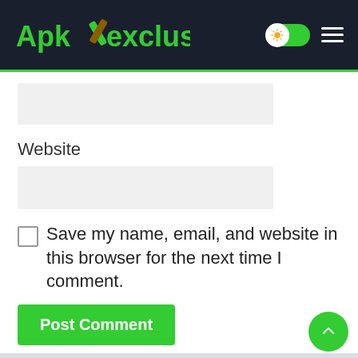ApkXexclusive
[input field]
Website
[input field]
Save my name, email, and website in this browser for the next time I comment.
Post Comment
Search ...
Search